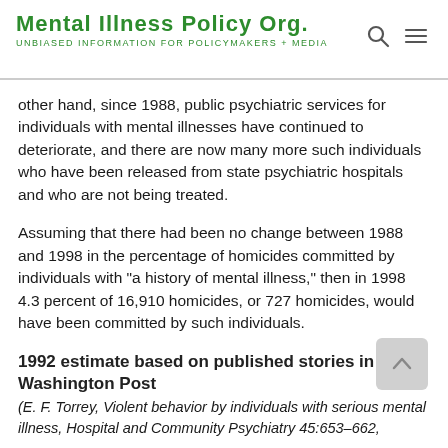Mental Illness Policy Org. — Unbiased information for policymakers + Media
other hand, since 1988, public psychiatric services for individuals with mental illnesses have continued to deteriorate, and there are now many more such individuals who have been released from state psychiatric hospitals and who are not being treated.
Assuming that there had been no change between 1988 and 1998 in the percentage of homicides committed by individuals with "a history of mental illness," then in 1998 4.3 percent of 16,910 homicides, or 727 homicides, would have been committed by such individuals.
1992 estimate based on published stories in the Washington Post
(E. F. Torrey, Violent behavior by individuals with serious mental illness, Hospital and Community Psychiatry 45:653–662,